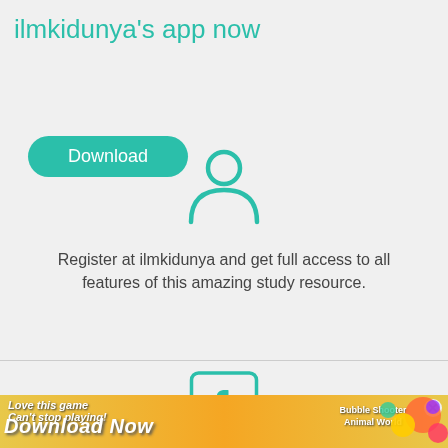ilmkidunya's app now
Download
[Figure (illustration): Teal user/person silhouette icon — circle head above rounded torso/shoulders shape]
Register at ilmkidunya and get full access to all features of this amazing study resource.
Register
[Figure (illustration): Facebook logo — square outline with rounded corners containing the letter f in teal]
×
[Figure (infographic): Advertisement banner: colorful ad with text 'Love this game Can't stop playing!' and 'Download Now' with Bubble Shooter Animal World game imagery]